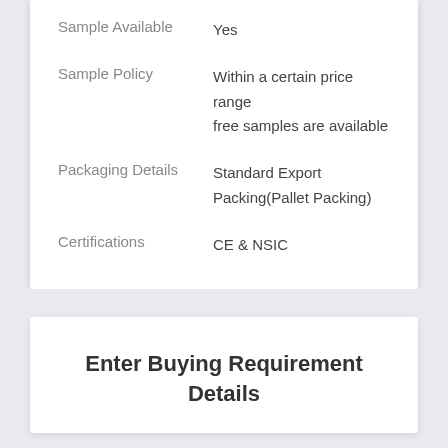| Field | Value |
| --- | --- |
| Sample Available | Yes |
| Sample Policy | Within a certain price range free samples are available |
| Packaging Details | Standard Export Packing(Pallet Packing) |
| Certifications | CE & NSIC |
Enter Buying Requirement Details